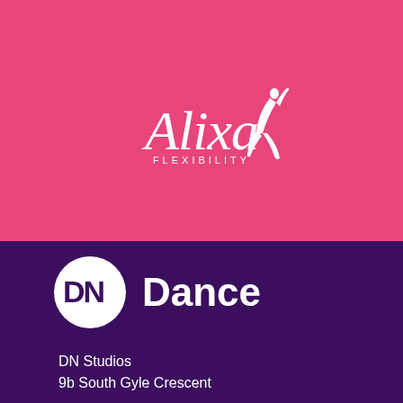[Figure (logo): Alixa Flexibility logo — white cursive 'Alixa' script text with a white silhouette of a flexible dancer figure, and 'FLEXIBILITY' in small spaced uppercase letters below, on a hot pink background]
[Figure (logo): DN Dance logo — white circle with 'DN' letters in dark purple inside, followed by 'Dance' in large bold white text, on a dark purple background]
DN Studios
9b South Gyle Crescent